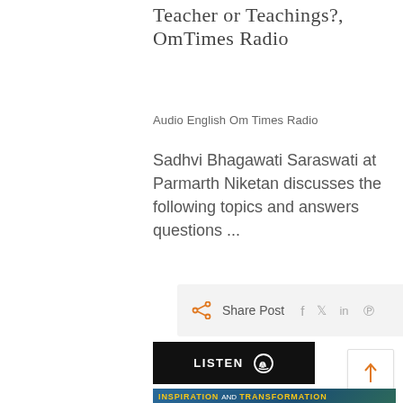TEACHER OR TEACHINGS?', OMTIMES RADIO
Audio English Om Times Radio
Sadhvi Bhagawati Saraswati at Parmarth Niketan discusses the following topics and answers questions ...
[Figure (infographic): Share Post bar with orange share icon and social media icons for Facebook, Twitter, LinkedIn, Pinterest]
[Figure (infographic): Black LISTEN button with headphone icon]
[Figure (infographic): Up arrow scroll-to-top button]
[Figure (photo): Partial image showing 'INSPIRATION AND TRANSFORMATION' text over a blue mountainous background with a person]